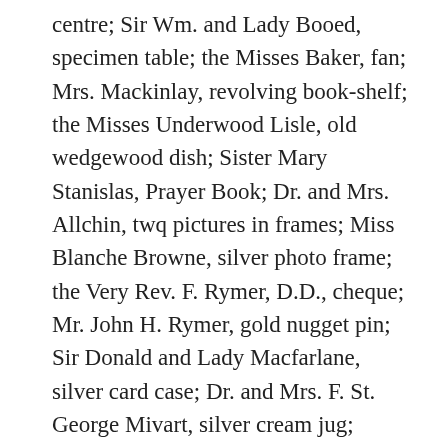centre; Sir Wm. and Lady Booed, specimen table; the Misses Baker, fan; Mrs. Mackinlay, revolving book-shelf; the Misses Underwood Lisle, old wedgewood dish; Sister Mary Stanislas, Prayer Book; Dr. and Mrs. Allchin, twq pictures in frames; Miss Blanche Browne, silver photo frame; the Very Rev. F. Rymer, D.D., cheque; Mr. John H. Rymer, gold nugget pin; Sir Donald and Lady Macfarlane, silver card case; Dr. and Mrs. F. St. George Mivart, silver cream jug; Judge and Mrs. Bagshawe, Georgian silver teapot; Mrs. Crook, work case; the Right Rev. Mgr. Crook, Imitation of Christ; Miss Hughes, Dresden. china dish; Colonel Sturgeon, grandfather's clock; Mr. E. Blacken,. bronze vase; Mr. and Mrs. E. Colegrave, Coalport coffee cups; Mr. and Mrs. Arthur Weigel, silver fruit spoons; Messrs. Stewart, Alexander; and H. Weigel, silver